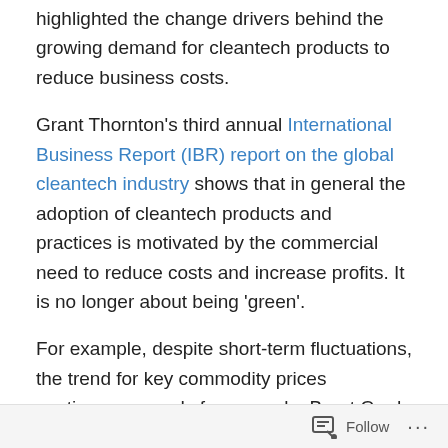highlighted the change drivers behind the growing demand for cleantech products to reduce business costs.
Grant Thornton's third annual International Business Report (IBR) report on the global cleantech industry shows that in general the adoption of cleantech products and practices is motivated by the commercial need to reduce costs and increase profits. It is no longer about being 'green'.
For example, despite short-term fluctuations, the trend for key commodity prices continues upwards for example, Brent Crude oil recently rose back above US$120 a barrel. The outlook for nuclear energy is unclear following the Fukushima disaster – Germany, for example, has opted for the renewables route – and partly due to this uncertainty,
Follow ···